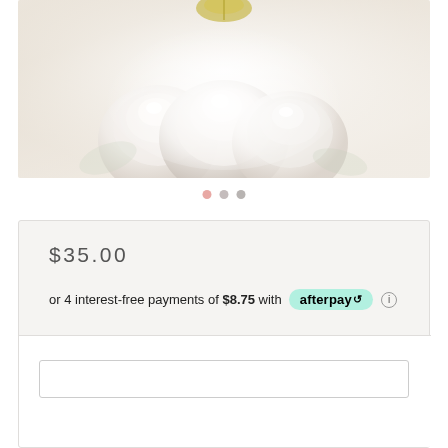[Figure (photo): Product photo showing white roses and a gold decorative cake topper on a light background]
$35.00
or 4 interest-free payments of $8.75 with afterpay ℹ